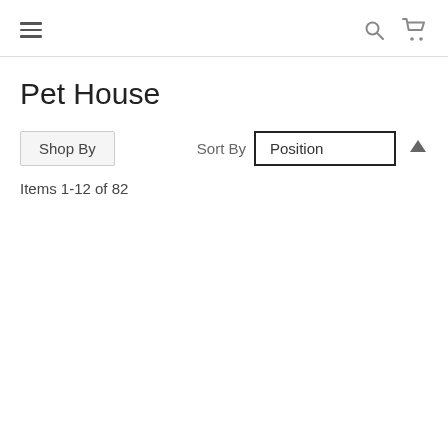Navigation header with hamburger menu, search icon, and cart icon
Pet House
Shop By    Sort By  Position
Items 1-12 of 82